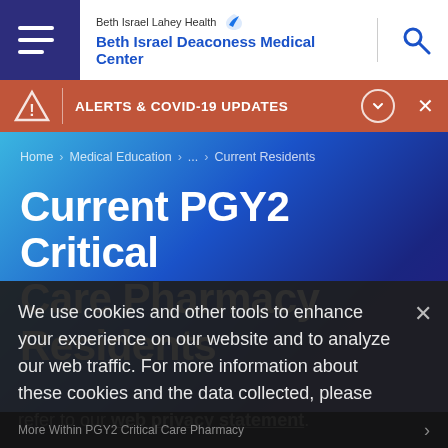Beth Israel Lahey Health Beth Israel Deaconess Medical Center
ALERTS & COVID-19 UPDATES
Home > Medical Education > ... > Current Residents
Current PGY2 Critical Care Pharmacy Residents
We use cookies and other tools to enhance your experience on our website and to analyze our web traffic. For more information about these cookies and the data collected, please refer to our web privacy statement.
More Within PGY2 Critical Care Pharmacy